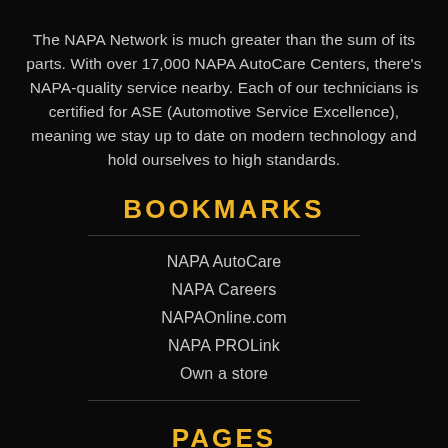The NAPA Network is much greater than the sum of its parts. With over 17,000 NAPA AutoCare Centers, there's NAPA-quality service nearby. Each of our technicians is certified for ASE (Automotive Service Excellence), meaning we stay up to date on modern technology and hold ourselves to high standards.
BOOKMARKS
NAPA AutoCare
NAPA Careers
NAPAOnline.com
NAPA PROLink
Own a store
PAGES